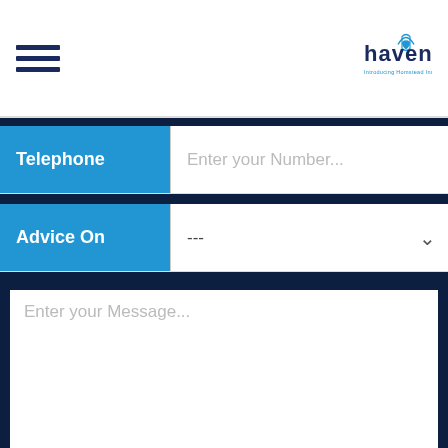[Figure (logo): Haven Insurance logo with house/heart icon and tagline]
Telephone
Enter your Number...
Advice On
---
Enter your Message...
This website uses cookies to improve your experience. We'll assume you're ok with this, but you can opt-out if you wish.
Accept